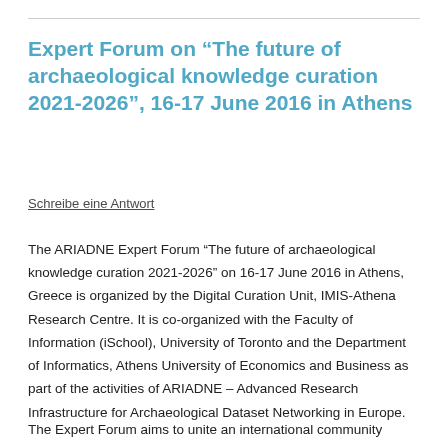Expert Forum on “The future of archaeological knowledge curation 2021-2026”, 16-17 June 2016 in Athens
Schreibe eine Antwort
The ARIADNE Expert Forum “The future of archaeological knowledge curation 2021-2026” on 16-17 June 2016 in Athens, Greece is organized by the Digital Curation Unit, IMIS-Athena Research Centre. It is co-organized with the Faculty of Information (iSchool), University of Toronto and the Department of Informatics, Athens University of Economics and Business as part of the activities of ARIADNE – Advanced Research Infrastructure for Archaeological Dataset Networking in Europe.
The Expert Forum aims to unite an international community